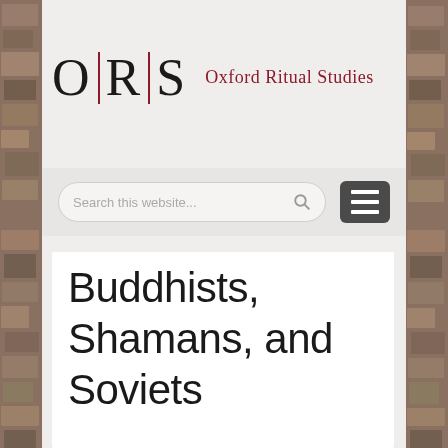[Figure (logo): Oxford Ritual Studies (ORS) logo with large serif O|R|S letters and red text 'Oxford Ritual Studies']
[Figure (screenshot): Search bar with placeholder 'Search this website...' and hamburger menu button]
Buddhists, Shamans, and Soviets